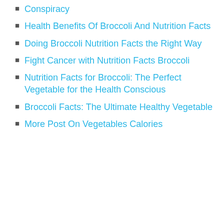Conspiracy
Health Benefits Of Broccoli And Nutrition Facts
Doing Broccoli Nutrition Facts the Right Way
Fight Cancer with Nutrition Facts Broccoli
Nutrition Facts for Broccoli: The Perfect Vegetable for the Health Conscious
Broccoli Facts: The Ultimate Healthy Vegetable
More Post On Vegetables Calories